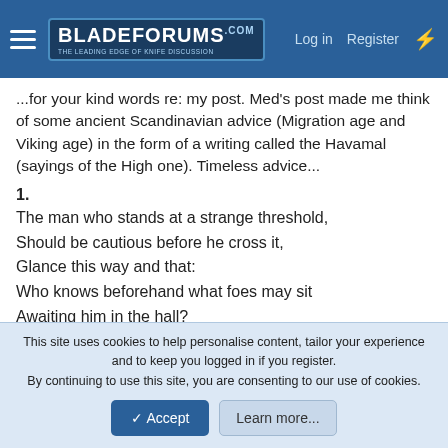BladeForums — Log in | Register
...for your kind words re: my post. Med's post made me think of some ancient Scandinavian advice (Migration age and Viking age) in the form of a writing called the Havamal (sayings of the High one). Timeless advice...
1.
The man who stands at a strange threshold,
Should be cautious before he cross it,
Glance this way and that:
Who knows beforehand what foes may sit
Awaiting him in the hall?
5.
Who travels widely needs his wits about him,
The stupid should stay at home
This site uses cookies to help personalise content, tailor your experience and to keep you logged in if you register.
By continuing to use this site, you are consenting to our use of cookies.